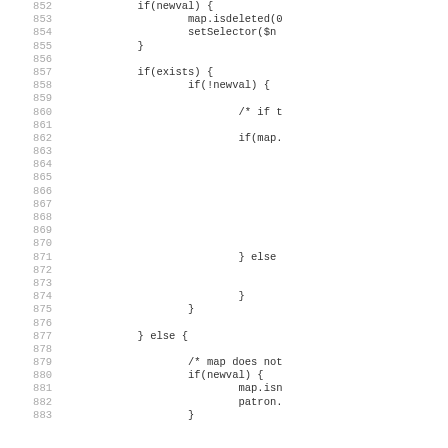Source code listing, lines 852–883, showing nested if/else blocks with map and selector operations.